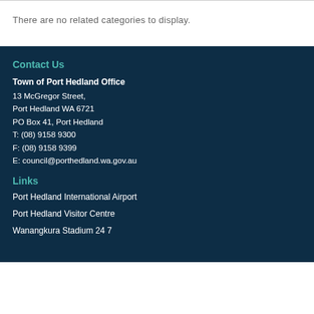There are no related categories to display.
Contact Us
Town of Port Hedland Office
13 McGregor Street,
Port Hedland WA 6721
PO Box 41, Port Hedland
T: (08) 9158 9300
F: (08) 9158 9399
E: council@porthedland.wa.gov.au
Links
Port Hedland International Airport
Port Hedland Visitor Centre
Wanangkura Stadium 24 7